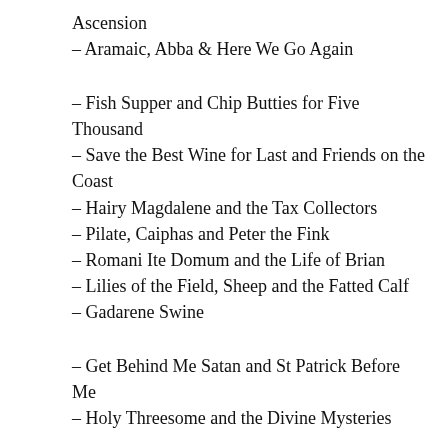Ascension
– Aramaic, Abba & Here We Go Again
– Fish Supper and Chip Butties for Five Thousand
– Save the Best Wine for Last and Friends on the Coast
– Hairy Magdalene and the Tax Collectors
– Pilate, Caiphas and Peter the Fink
– Romani Ite Domum and the Life of Brian
– Lilies of the Field, Sheep and the Fatted Calf
– Gadarene Swine
– Get Behind Me Satan and St Patrick Before Me
– Holy Threesome and the Divine Mysteries